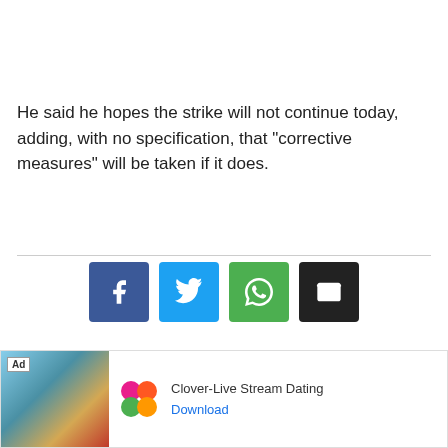He said he hopes the strike will not continue today, adding, with no specification, that “corrective measures” will be taken if it does.
[Figure (other): Social sharing buttons: Facebook (blue), Twitter (light blue), WhatsApp (green), Email (black)]
[Figure (other): Advertisement banner: Clover-Live Stream Dating app ad with Download link]